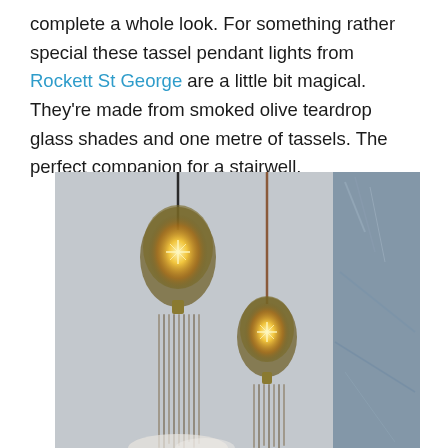complete a whole look. For something rather special these tassel pendant lights from Rockett St George are a little bit magical. They're made from smoked olive teardrop glass shades and one metre of tassels. The perfect companion for a stairwell.
[Figure (photo): Two tassel pendant lights with smoked olive teardrop glass shades hanging, with glowing Edison-style bulbs visible inside. The lights have long fringe/tassel strands hanging below. Background shows a textured blue-grey panel on the right.]